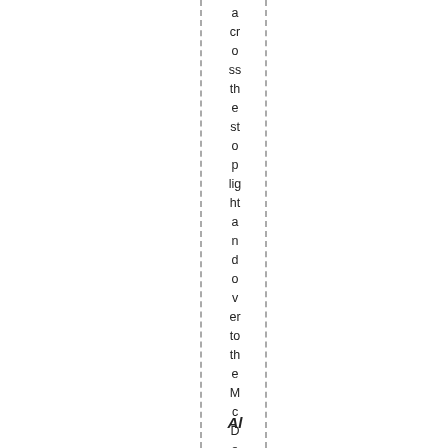across the stoplight and over to the McDonald's. Al
Al